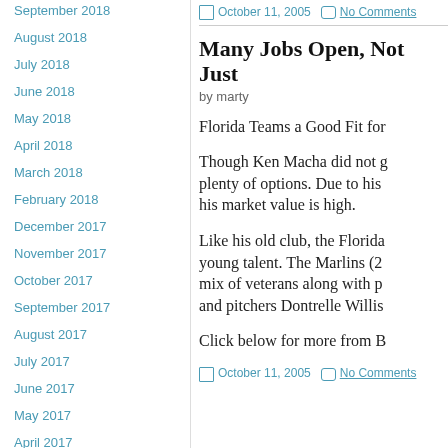September 2018
August 2018
July 2018
June 2018
May 2018
April 2018
March 2018
February 2018
December 2017
November 2017
October 2017
September 2017
August 2017
July 2017
June 2017
May 2017
April 2017
March 2017
October 11, 2005   No Comments
Many Jobs Open, Not Just
by marty
Florida Teams a Good Fit for
Though Ken Macha did not g plenty of options. Due to his his market value is high.
Like his old club, the Florida young talent. The Marlins (2 mix of veterans along with p and pitchers Dontrelle Willis
Click below for more from B
October 11, 2005   No Comments